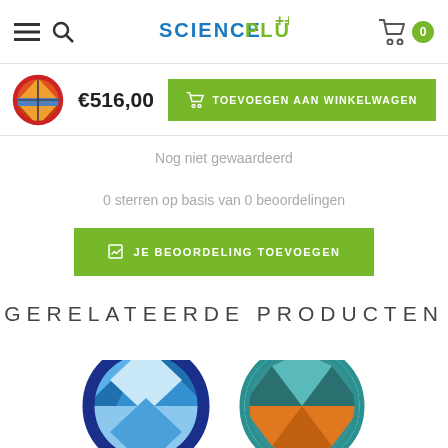SCIENCEPLUS — navigation header with menu, search, logo, cart (0)
€516,00
TOEVOEGEN AAN WINKELWAGEN
Nog niet gewaardeerd
0 sterren op basis van 0 beoordelingen
JE BEOORDELING TOEVOEGEN
GERELATEERDE PRODUCTEN
[Figure (logo): Blue circular product logo with paper/folder geometric design]
[Figure (logo): Teal circular product logo with orange and teal geometric/arrow design]